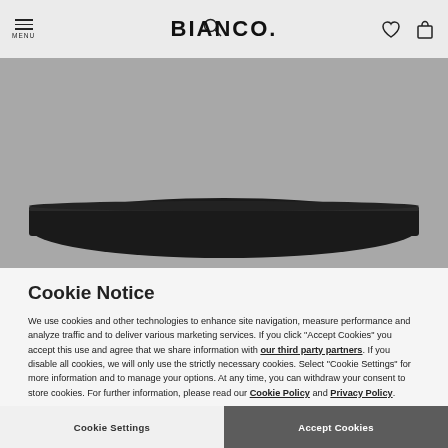MENU | BIANCO. | [search icon] [heart icon] [bag icon]
[Figure (photo): Top-down or angled view of a dark black shoe sole/belt against a grey background, showing the curved bottom edge of a dark shoe]
Cookie Notice
We use cookies and other technologies to enhance site navigation, measure performance and analyze traffic and to deliver various marketing services. If you click “Accept Cookies” you accept this use and agree that we share information with our third party partners. If you disable all cookies, we will only use the strictly necessary cookies. Select “Cookie Settings” for more information and to manage your options. At any time, you can withdraw your consent to store cookies. For further information, please read our Cookie Policy and Privacy Policy.
Cookie Settings | Accept Cookies